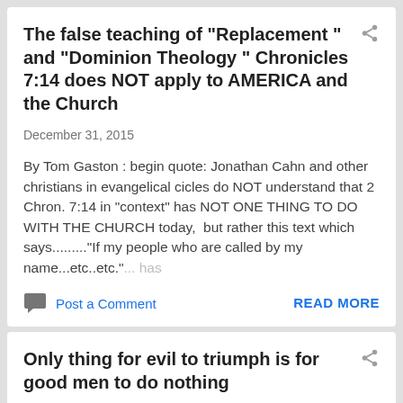The false teaching of "Replacement " and "Dominion Theology " Chronicles 7:14 does NOT apply to AMERICA and the Church
December 31, 2015
By Tom Gaston : begin quote: Jonathan Cahn and other christians in evangelical cicles do NOT understand that 2 Chron. 7:14 in "context" has NOT ONE THING TO DO WITH THE CHURCH today,  but rather this text which says........"If my people who are called by my name...etc..etc."... has ...
Post a Comment
READ MORE
Only thing for evil to triumph is for good men to do nothing